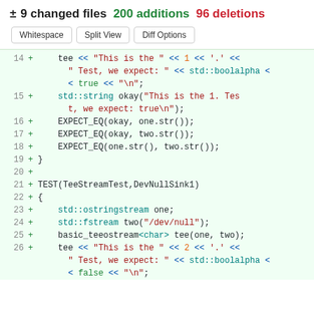± 9 changed files 200 additions 96 deletions
Whitespace | Split View | Diff Options
Code diff showing lines 14-26 with additions in green background, including tee stream test code in C++